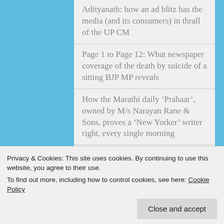Adityanath: how an ad blitz has the media (and its consumers) in thrall of the UP CM
Page 1 to Page 12: What newspaper coverage of the death by suicide of a sitting BJP MP reveals
How the Marathi daily ‘Prahaar’, owned by M/s Narayan Rane & Sons, proves a ‘New Yorker’ writer right, every single morning
Press Council of India invites applications for its 14th term
Privacy & Cookies: This site uses cookies. By continuing to use this website, you agree to their use. To find out more, including how to control cookies, see here: Cookie Policy
Close and accept
owner, editor of ‘Dina Malar’, who